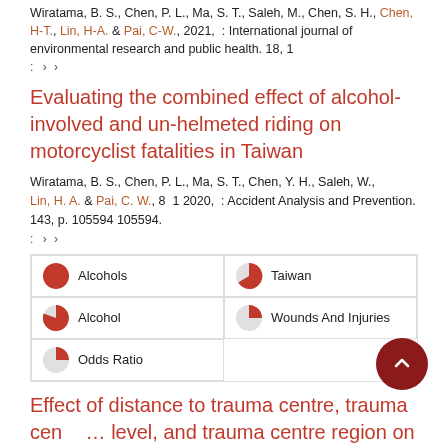Wiratama, B. S., Chen, P. L., Ma, S. T., Saleh, M., Chen, S. H., Chen, H-T., Lin, H-A. & Pai, C-W., 2021, : International journal of environmental research and public health. 18, 1
: > >
Evaluating the combined effect of alcohol-involved and un-helmeted riding on motorcyclist fatalities in Taiwan
Wiratama, B. S., Chen, P. L., Ma, S. T., Chen, Y. H., Saleh, W., Lin, H. A. & Pai, C. W., 8 1 2020, : Accident Analysis and Prevention. 143, p. 105594 105594.
: > >
[Figure (infographic): Keyword relevance indicators shown as pie chart icons with labels: Alcohols (100%), Taiwan (90%), Alcohol (75%), Wounds And Injuries (50%), Odds Ratio (50%)]
Effect of distance to trauma centre, trauma centre level, and trauma centre region on fatal injuries